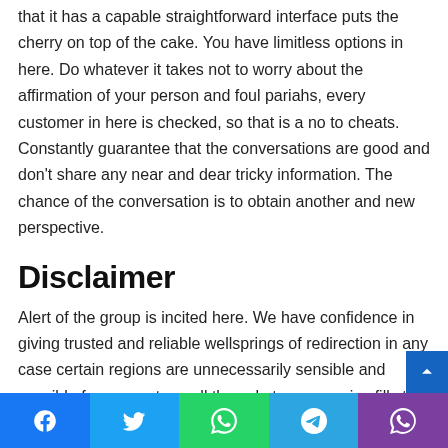that it has a capable straightforward interface puts the cherry on top of the cake. You have limitless options in here. Do whatever it takes not to worry about the affirmation of your person and foul pariahs, every customer in here is checked, so that is a no to cheats. Constantly guarantee that the conversations are good and don’t share any near and dear tricky information. The chance of the conversation is to obtain another and new perspective.
Disclaimer
Alert of the group is incited here. We have confidence in giving trusted and reliable wellsprings of redirection in any case certain regions are unnecessarily sensible and sensible for youngsters, all the substance we give fills the need of preparing just, we don’t bear the obligation of making any